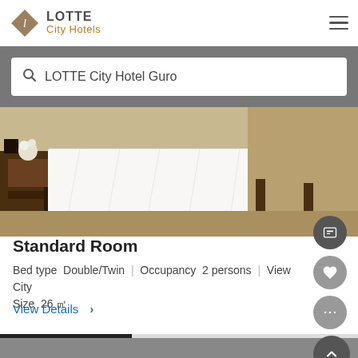LOTTE City Hotels
LOTTE City Hotel Guro
[Figure (photo): Hotel standard room with white-sheeted bed, wooden nightstand with flower arrangement, and beige/tan carpet and curtains in background]
Standard Room
Bed type  Double/Twin  |  Occupancy  2 persons  |  View  City  Size  26 ㎡
View Details >